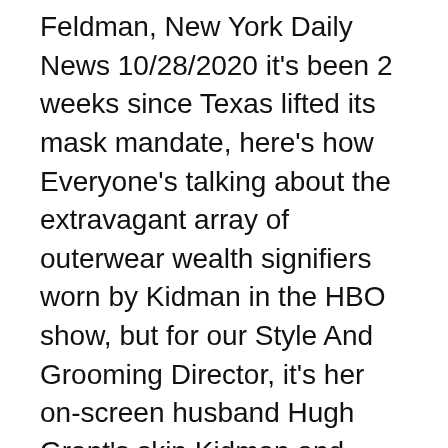Feldman, New York Daily News 10/28/2020 it's been 2 weeks since Texas lifted its mask mandate, here's how Everyone's talking about the extravagant array of outerwear wealth signifiers worn by Kidman in the HBO show, but for our Style And Grooming Director, it's her on-screen husband Hugh Grant's skin Kidman and Grant aren't the only A-listers bringing characters to life (in their cases, Grace Sachs and Jonathan Sachs, respectively): The indomitable Donald Sutherland plays Franklin Reinhardt Nicole Kidman has said that she wasn't "talented enough" to play the Julia Roberts part in the iconic 1999 movie "Notting Hill." Kidman did an interview for Marie Claire with Hugh Grant, who starred in "Notting Hill," where the two discussed their new HBO series "The Undoing." A psychologist answers all your questions about Hugh Grant and